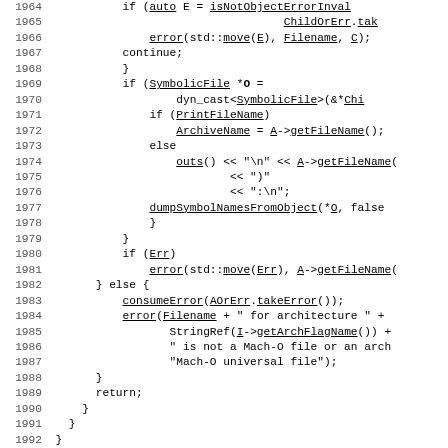[Figure (screenshot): Source code listing with line numbers 1964-1994, showing C++ code for file/archive handling with underlined identifiers and function names.]